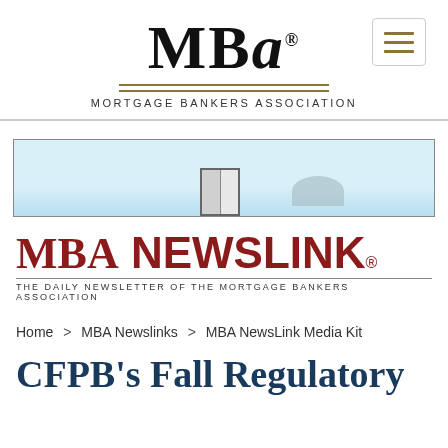MBA — Mortgage Bankers Association
[Figure (illustration): Advertisement banner with light blue sky background, a door graphic, and a rounded shape]
MBA NEWSLINK® — THE DAILY NEWSLETTER OF THE MORTGAGE BANKERS ASSOCIATION
Home > MBA Newslinks > MBA NewsLink Media Kit
CFPB's Fall Regulatory